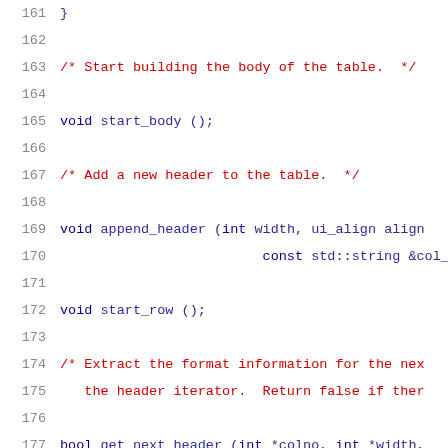161    }
162
163    /* Start building the body of the table.  */
164
165    void start_body ();
166
167    /* Add a new header to the table.  */
168
169    void append_header (int width, ui_align align
170                         const std::string &col_na
171
172    void start_row ();
173
174    /* Extract the format information for the nex
175       the header iterator.  Return false if ther
176
177    bool get_next_header (int *colno, int *width,
178                           const char **col_hdr);
179
180    bool query_field (int colno, int *width, int
181                      const char **col_name) cons